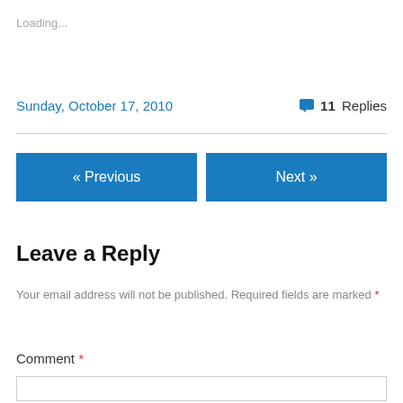Loading...
Sunday, October 17, 2010
💬 11 Replies
« Previous
Next »
Leave a Reply
Your email address will not be published. Required fields are marked *
Comment *